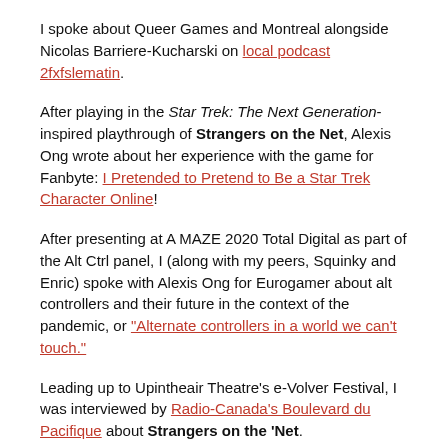I spoke about Queer Games and Montreal alongside Nicolas Barriere-Kucharski on local podcast 2fxfslematin.
After playing in the Star Trek: The Next Generation-inspired playthrough of Strangers on the Net, Alexis Ong wrote about her experience with the game for Fanbyte: I Pretended to Pretend to Be a Star Trek Character Online!
After presenting at A MAZE 2020 Total Digital as part of the Alt Ctrl panel, I (along with my peers, Squinky and Enric) spoke with Alexis Ong for Eurogamer about alt controllers and their future in the context of the pandemic, or "Alternate controllers in a world we can't touch."
Leading up to Upintheair Theatre's e-Volver Festival, I was interviewed by Radio-Canada's Boulevard du Pacifique about Strangers on the 'Net.
Strangers on the 'Net was highlighted as part of UpintheAir's e-Volver Festival as part of CBC Arts' 10 best bets for digital events, for the week of June 15th 2020.